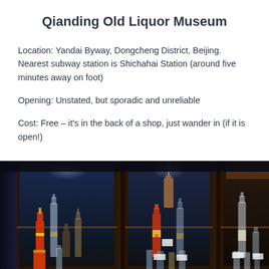Qianding Old Liquor Museum
Location: Yandai Byway, Dongcheng District, Beijing. Nearest subway station is Shichahai Station (around five minutes away on foot)
Opening: Unstated, but sporadic and unreliable
Cost: Free – it's in the back of a shop, just wander in (if it is open!)
[Figure (photo): Glass display cabinets containing vintage Chinese liquor bottles in a dimly lit museum setting]